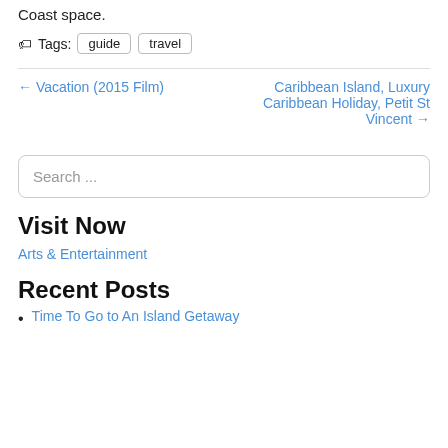Coast space.
Tags: guide travel
← Vacation (2015 Film)
Caribbean Island, Luxury Caribbean Holiday, Petit St Vincent →
Search ...
Visit Now
Arts & Entertainment
Recent Posts
Time To Go to An Island Getaway